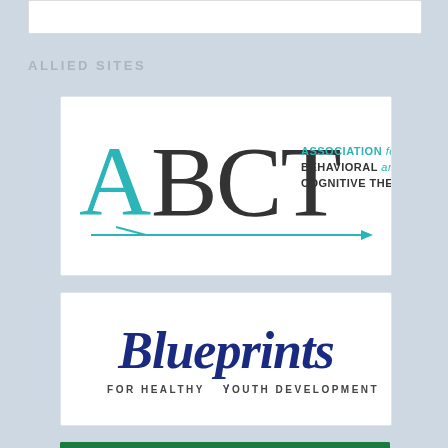ALLIED SITES
[Figure (logo): ABCT - Association for Behavioral and Cognitive Therapies logo with teal A letter and arrow]
[Figure (logo): Blueprints for Healthy Youth Development logo in dark blue script]
[Figure (logo): Child & Family (partial) logo with green background and white text]